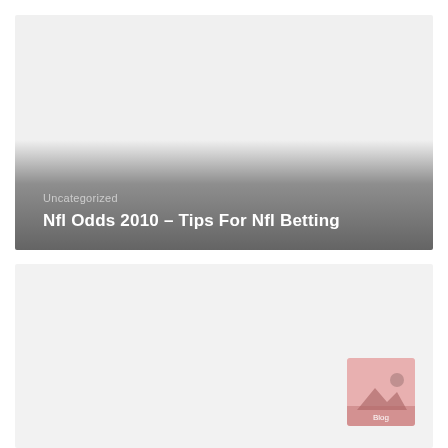[Figure (photo): Card with gradient overlay at bottom showing category and title text. Top half is a light gray image placeholder with dark gradient fading to gray at the bottom.]
Uncategorized
Nfl Odds 2010 – Tips For Nfl Betting
[Figure (photo): Second card below with light gray background and a small pinkish placeholder image icon in the bottom-right corner.]